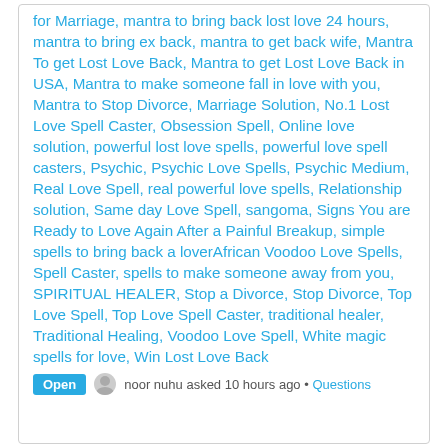for Marriage, mantra to bring back lost love 24 hours, mantra to bring ex back, mantra to get back wife, Mantra To get Lost Love Back, Mantra to get Lost Love Back in USA, Mantra to make someone fall in love with you, Mantra to Stop Divorce, Marriage Solution, No.1 Lost Love Spell Caster, Obsession Spell, Online love solution, powerful lost love spells, powerful love spell casters, Psychic, Psychic Love Spells, Psychic Medium, Real Love Spell, real powerful love spells, Relationship solution, Same day Love Spell, sangoma, Signs You are Ready to Love Again After a Painful Breakup, simple spells to bring back a loverAfrican Voodoo Love Spells, Spell Caster, spells to make someone away from you, SPIRITUAL HEALER, Stop a Divorce, Stop Divorce, Top Love Spell, Top Love Spell Caster, traditional healer, Traditional Healing, Voodoo Love Spell, White magic spells for love, Win Lost Love Back
Open   noor nuhu asked 10 hours ago • Questions